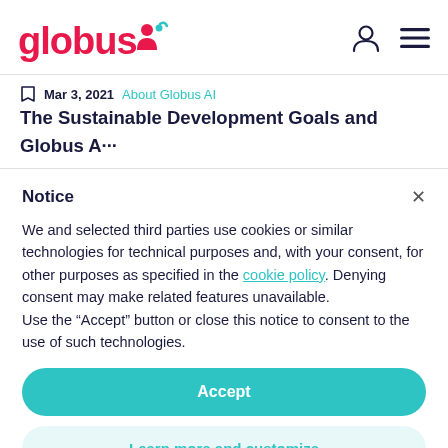globus ai
Mar 3, 2021  About Globus AI
The Sustainable Development Goals and Globus AI
Notice
We and selected third parties use cookies or similar technologies for technical purposes and, with your consent, for other purposes as specified in the cookie policy. Denying consent may make related features unavailable.
Use the “Accept” button or close this notice to consent to the use of such technologies.
Accept
Learn more and customize